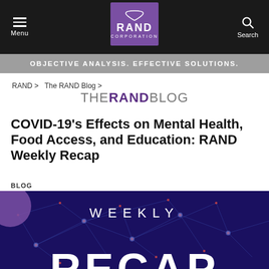Menu | RAND Corporation | Search
OBJECTIVE ANALYSIS. EFFECTIVE SOLUTIONS.
RAND > The RAND Blog >
THE RAND BLOG
COVID-19's Effects on Mental Health, Food Access, and Education: RAND Weekly Recap
BLOG
[Figure (illustration): Dark blue background with network/neural network dot-and-line pattern. Purple circle top left. Large white text reads WEEKLY RECAP.]